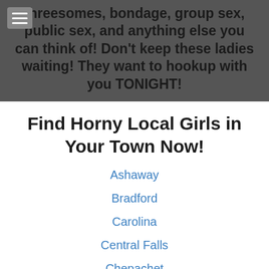threesomes, bondage, group sex, public sex, and anything else you can think of! Don't keep these ladies waiting! They want to hookup with you TONIGHT!
Find Horny Local Girls in Your Town Now!
Ashaway
Bradford
Carolina
Central Falls
Chepachet
Cranston